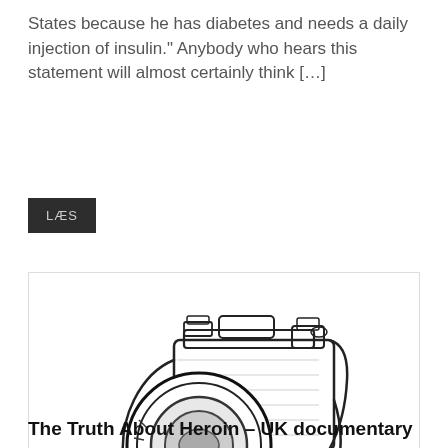States because he has diabetes and needs a daily injection of insulin." Anybody who hears this statement will almost certainly think […]
LÆS
[Figure (illustration): Hand-drawn sketch illustration of an SLR camera with a large lens and camera strap, rendered in black ink on white background.]
The Truth About Heroin – UK documentary